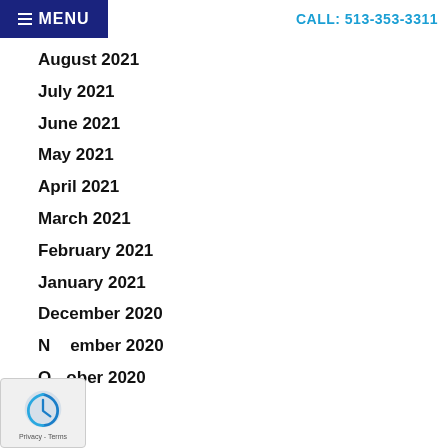≡ MENU    CALL: 513-353-3311
August 2021
July 2021
June 2021
May 2021
April 2021
March 2021
February 2021
January 2021
December 2020
November 2020
October 2020